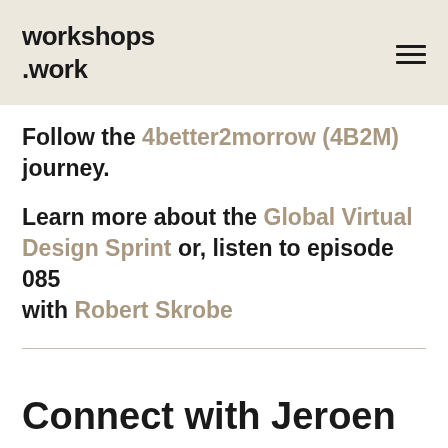workshops.work
Follow the 4better2morrow (4B2M) journey.
Learn more about the Global Virtual Design Sprint or, listen to episode 085 with Robert Skrobe
Connect with Jeroen